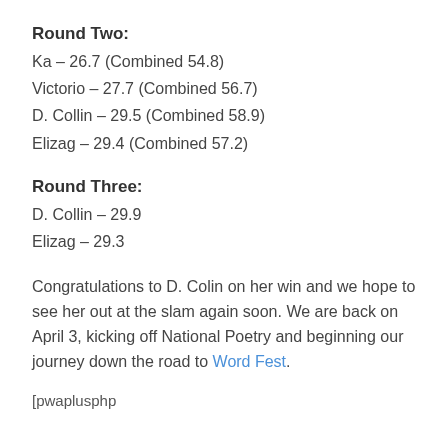Round Two:
Ka – 26.7 (Combined 54.8)
Victorio – 27.7 (Combined 56.7)
D. Collin – 29.5 (Combined 58.9)
Elizag – 29.4 (Combined 57.2)
Round Three:
D. Collin – 29.9
Elizag – 29.3
Congratulations to D. Colin on her win and we hope to see her out at the slam again soon. We are back on April 3, kicking off National Poetry and beginning our journey down the road to Word Fest.
[pwaplusphp